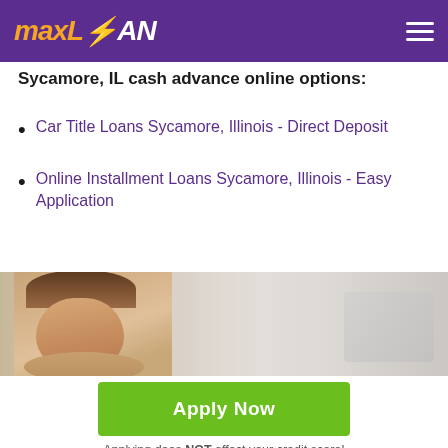maxLOAN
Sycamore, IL cash advance online options:
Car Title Loans Sycamore, Illinois - Direct Deposit
Online Installment Loans Sycamore, Illinois - Easy Application
[Figure (photo): Smiling young woman at a computer, photo banner]
Apply Now
Applying does NOT affect your credit score!
No credit check to apply.